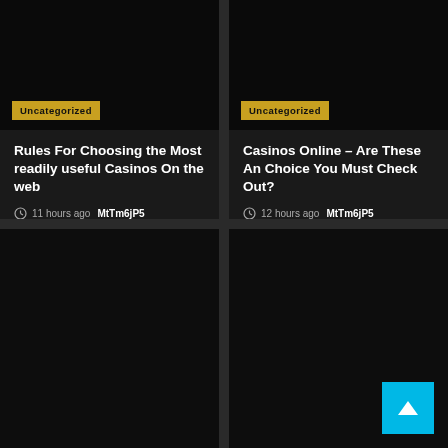[Figure (photo): Dark image card top-left with Uncategorized badge]
Rules For Choosing the Most readily useful Casinos On the web
11 hours ago  MtTm6jP5
[Figure (photo): Dark image card top-right with Uncategorized badge]
Casinos Online – Are These An Choice You Must Check Out?
12 hours ago  MtTm6jP5
[Figure (photo): Dark image card bottom-left]
[Figure (photo): Dark image card bottom-right with back-to-top button]